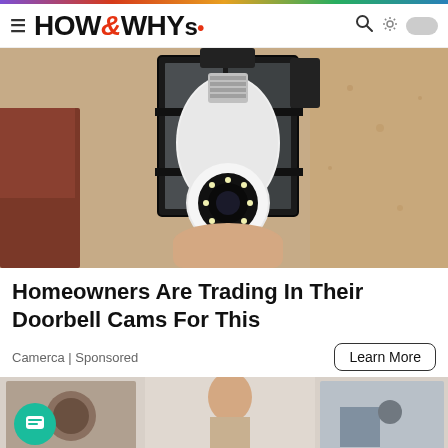HOW&WHYs
[Figure (photo): A security camera shaped like a light bulb installed in an outdoor black metal lantern fixture mounted on a textured stone/stucco wall. A hand is holding the bulb-camera from below. The camera has a circular lens with LED lights around it.]
Homeowners Are Trading In Their Doorbell Cams For This
Camerca | Sponsored
Learn More
[Figure (photo): Partial view of a second article preview showing a person in what appears to be a gym or indoor setting, partially cut off at the bottom of the page.]